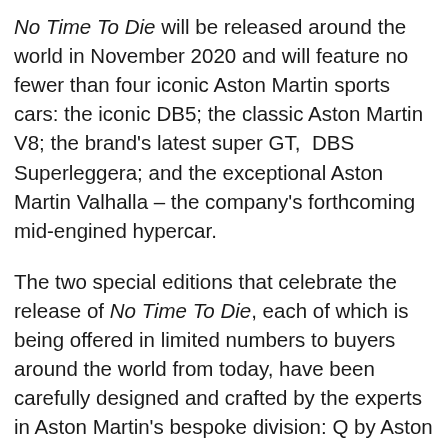No Time To Die will be released around the world in November 2020 and will feature no fewer than four iconic Aston Martin sports cars: the iconic DB5; the classic Aston Martin V8; the brand's latest super GT, DBS Superleggera; and the exceptional Aston Martin Valhalla – the company's forthcoming mid-engined hypercar.
The two special editions that celebrate the release of No Time To Die, each of which is being offered in limited numbers to buyers around the world from today, have been carefully designed and crafted by the experts in Aston Martin's bespoke division: Q by Aston Martin. Aspiring to offer the ultimate in bespoke personalisation services, Q by Aston Martin delivers both carefully curated special editions such as these, as well as the opportunity for individual owners to embark on the